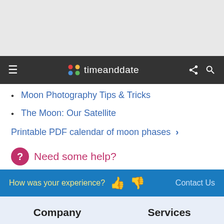[Figure (screenshot): Gray empty area at top of page]
timeanddate navigation bar with hamburger menu, logo, share and search icons
Moon Photography Tips & Tricks
The Moon: Our Satellite
Printable PDF calendar of moon phases >
Need some help?
How was your experience? 👍 👎   Contact Us
Company
Services
About us
World Clock
Careers/Jobs
Time Zones